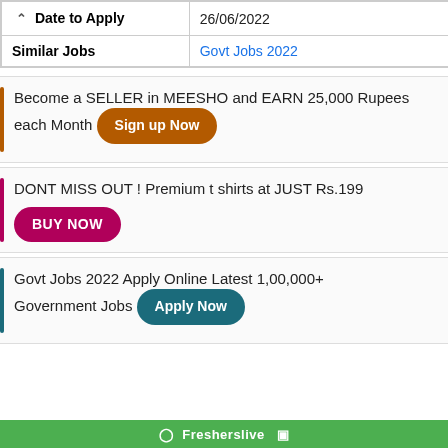| Date to Apply | 26/06/2022 |
| Similar Jobs | Govt Jobs 2022 |
[Figure (other): Advertisement: Become a SELLER in MEESHO and EARN 25,000 Rupees each Month with Sign up Now button]
[Figure (other): Advertisement: DONT MISS OUT ! Premium t shirts at JUST Rs.199 with BUY NOW button]
[Figure (other): Advertisement: Govt Jobs 2022 Apply Online Latest 1,00,000+ Government Jobs with Apply Now button]
[Figure (other): Green bar with Fresherslive branding at the bottom]